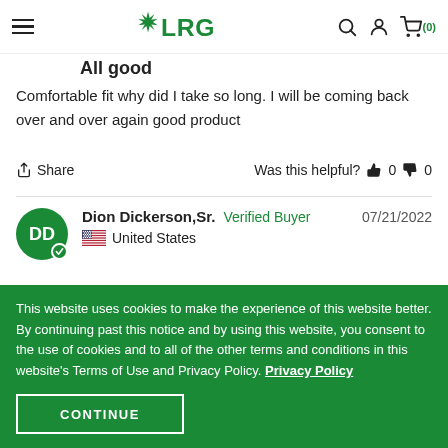LRG — navigation header with hamburger menu, LRG logo, search, account, and cart (0) icons
All good
Comfortable fit why did I take so long. I will be coming back over and over again good product
Share   Was this helpful? 👍 0 👎 0
Dion Dickerson,Sr. — Verified Buyer — 07/21/2022 — United States
This website uses cookies to make the experience of this website better. By continuing past this notice and by using this website, you consent to the use of cookies and to all of the other terms and conditions in this website's Terms of Use and Privacy Policy. Privacy Policy
CONTINUE